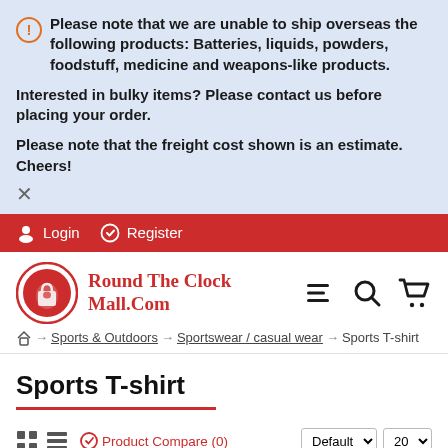Please note that we are unable to ship overseas the following products: Batteries, liquids, powders, foodstuff, medicine and weapons-like products.
Interested in bulky items? Please contact us before placing your order.
Please note that the freight cost shown is an estimate. Cheers!
Login   Register
[Figure (logo): Round The Clock Mall.Com logo with red circular icon]
Home → Sports & Outdoors → Sportswear / casual wear → Sports T-shirt
Sports T-shirt
Product Compare (0)   Default  20